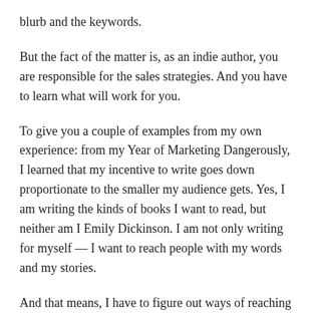blurb and the keywords.
But the fact of the matter is, as an indie author, you are responsible for the sales strategies. And you have to learn what will work for you.
To give you a couple of examples from my own experience: from my Year of Marketing Dangerously, I learned that my incentive to write goes down proportionate to the smaller my audience gets. Yes, I am writing the kinds of books I want to read, but neither am I Emily Dickinson. I am not only writing for myself — I want to reach people with my words and my stories.
And that means, I have to figure out ways of reaching my potential audience that don't make me start cursing fate.
Analyzing the situation, I realized that what I really don't care much for is Facebook and Twitter (except when I'm tweeting